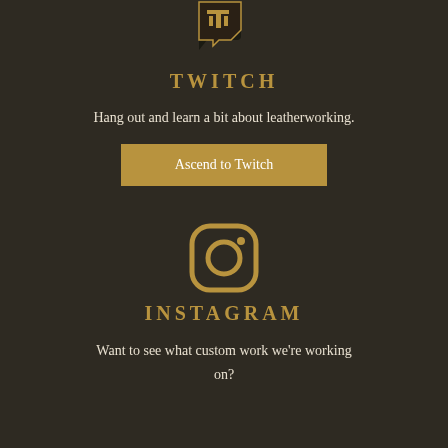[Figure (logo): Twitch logo - purple/black chat bubble with letter T, gold colored version on dark background]
TWITCH
Hang out and learn a bit about leatherworking.
Ascend to Twitch
[Figure (logo): Instagram logo - gold rounded square with camera outline and small circle dot, on dark background]
INSTAGRAM
Want to see what custom work we're working on?